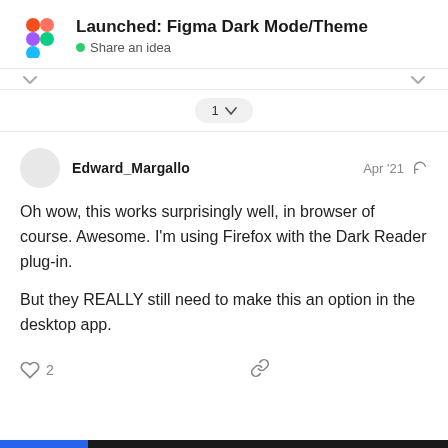Launched: Figma Dark Mode/Theme — Share an idea
1
Edward_Margallo  Apr '21
Oh wow, this works surprisingly well, in browser of course. Awesome. I'm using Firefox with the Dark Reader plug-in.

But they REALLY still need to make this an option in the desktop app.
2